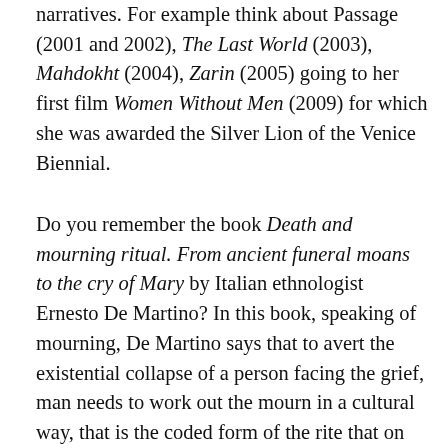narratives. For example think about Passage (2001 and 2002), The Last World (2003), Mahdokht (2004), Zarin (2005) going to her first film Women Without Men (2009) for which she was awarded the Silver Lion of the Venice Biennial.
Do you remember the book Death and mourning ritual. From ancient funeral moans to the cry of Mary by Italian ethnologist Ernesto De Martino? In this book, speaking of mourning, De Martino says that to avert the existential collapse of a person facing the grief, man needs to work out the mourn in a cultural way, that is the coded form of the rite that on one hand allows you to find yourself equal in pain to others, on the other hand it becomes a promise of resurrection. Mourning is a social ritual to transform the death into life, the despair into hope, the solitude in community. Mourning in other words is a bridge between